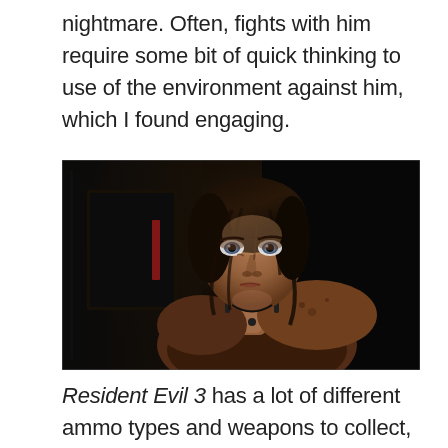nightmare. Often, fights with him require some bit of quick thinking to use of the environment against him, which I found engaging.
[Figure (photo): A screenshot from Resident Evil 3 showing Jill Valentine, a woman with dark hair and blue eyes, looking toward the camera in a dark environment. She appears dirty and injured.]
Resident Evil 3 has a lot of different ammo types and weapons to collect, which means inventory managing is something that must